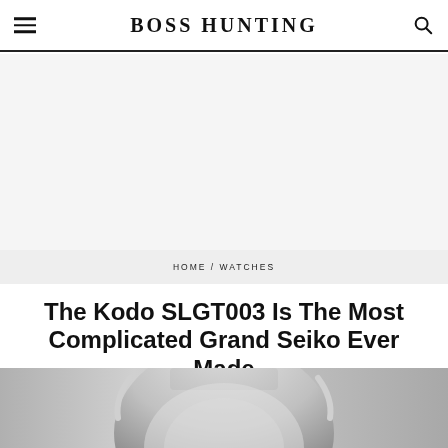BOSS HUNTING
[Figure (other): Gray advertisement/banner placeholder area]
HOME / WATCHES
The Kodo SLGT003 Is The Most Complicated Grand Seiko Ever Made
[Figure (photo): Black and white close-up photo of a Grand Seiko Kodo SLGT003 watch dial and case, partially visible from the bottom of the page]